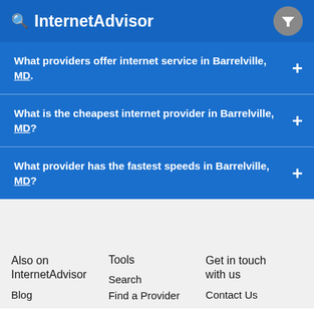InternetAdvisor
What providers offer internet service in Barrelville, MD.
What is the cheapest internet provider in Barrelville, MD?
What provider has the fastest speeds in Barrelville, MD?
Also on InternetAdvisor
Blog
Tools
Search
Find a Provider
Get in touch with us
Contact Us